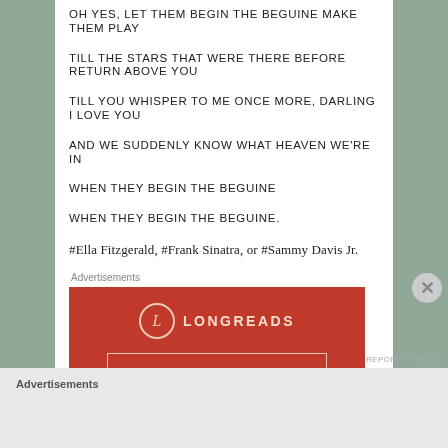OH YES, LET THEM BEGIN THE BEGUINE MAKE THEM PLAY
TILL THE STARS THAT WERE THERE BEFORE RETURN ABOVE YOU
TILL YOU WHISPER TO ME ONCE MORE, DARLING I LOVE YOU
AND WE SUDDENLY KNOW WHAT HEAVEN WE'RE IN
WHEN THEY BEGIN THE BEGUINE
WHEN THEY BEGIN THE BEGUINE.
#Ella Fitzgerald, #Frank Sinatra, or #Sammy Davis Jr.
Advertisements
[Figure (other): Longreads advertisement banner: red background with Longreads logo (circle with L), tagline 'The best stories on the web – ours, and...']
Advertisements